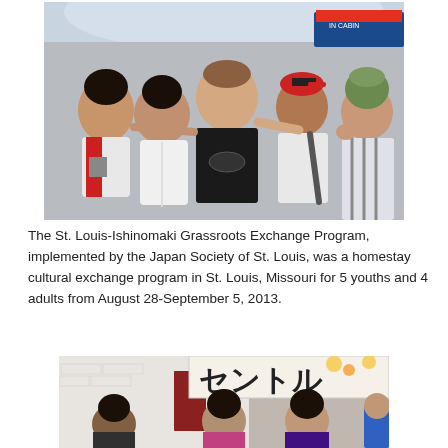[Figure (photo): Group photo of five people posing together indoors, likely at an airport or public building. From left: a woman in white and red, an older Asian man in white polo, a tall man in black motorcycle t-shirt, a teenage boy in white shirt with cap, and a young woman in striped jacket with green knit hat making a peace sign.]
The St. Louis-Ishinomaki Grassroots Exchange Program, implemented by the Japan Society of St. Louis, was a homestay cultural exchange program in St. Louis, Missouri for 5 youths and 4 adults from August 28-September 5, 2013.
[Figure (photo): Indoor group photo showing several young people seated or standing, with a large banner in Japanese characters (セントル) in the background. The setting appears to be a community or welcome event.]